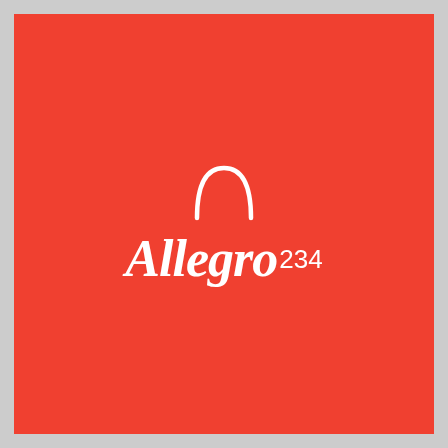[Figure (logo): Allegro logo on red/coral background: a white semicircle arc (shopping bag handle shape) above the stylized italic white text 'Allegro' with superscript '234']